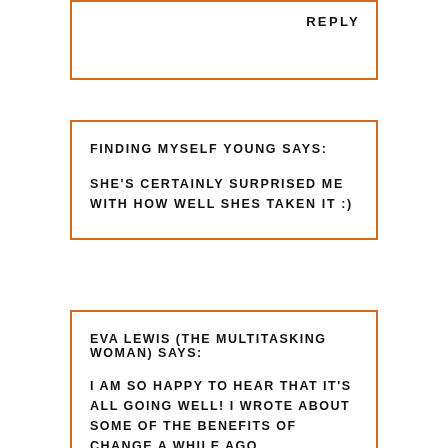REPLY
FINDING MYSELF YOUNG SAYS:

SHE'S CERTAINLY SURPRISED ME WITH HOW WELL SHES TAKEN IT :)
EVA LEWIS (THE MULTITASKING WOMAN) SAYS:

I AM SO HAPPY TO HEAR THAT IT'S ALL GOING WELL! I WROTE ABOUT SOME OF THE BENEFITS OF CHANGE A WHILE AGO